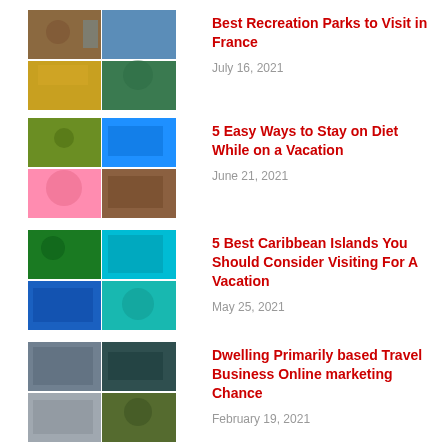[Figure (photo): Photo collage of recreation parks in France]
Best Recreation Parks to Visit in France
July 16, 2021
[Figure (photo): Photo collage of food and vacation scenes]
5 Easy Ways to Stay on Diet While on a Vacation
June 21, 2021
[Figure (photo): Photo collage of Caribbean islands]
5 Best Caribbean Islands You Should Consider Visiting For A Vacation
May 25, 2021
[Figure (photo): Photo collage of travel business / home scenes]
Dwelling Primarily based Travel Business Online marketing Chance
February 19, 2021